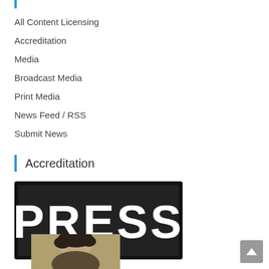All Content Licensing
Accreditation
Media
Broadcast Media
Print Media
News Feed / RSS
Submit News
Accreditation
[Figure (photo): A black press badge/sign with white bold text reading PRESS]
[Figure (photo): A man's headshot photo with dark curly hair, partial view, and vertically rotated red text reading Media]